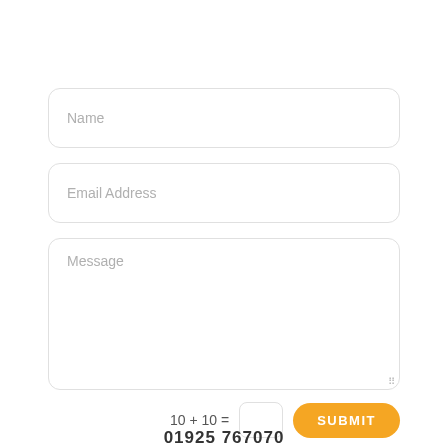Name
Email Address
Message
10 + 10 =
SUBMIT
01925 767070